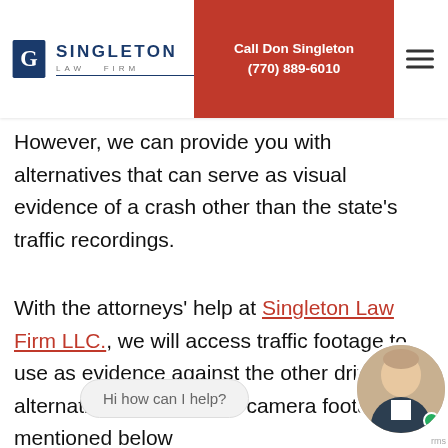Singleton Law Firm | Call Don Singleton (770) 889-6010
However, we can provide you with alternatives that can serve as visual evidence of a crash other than the state's traffic recordings.
With the attorneys' help at Singleton Law Firm LLC., we will access traffic footage to use as evidence against the other driver. The alternatives to traffic camera footage mentioned below be constructive when investigating car